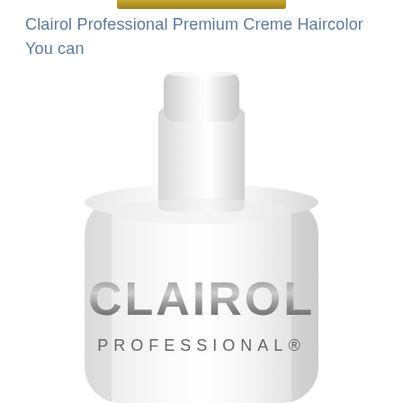Clairol Professional Premium Creme Haircolor You can
[Figure (photo): White Clairol Professional haircolor bottle with narrow neck/cap area at top, wide cylindrical body showing 'CLAIROL' in large metallic silver/dark letters and 'PROFESSIONAL®' in spaced smaller letters below, on a white background.]